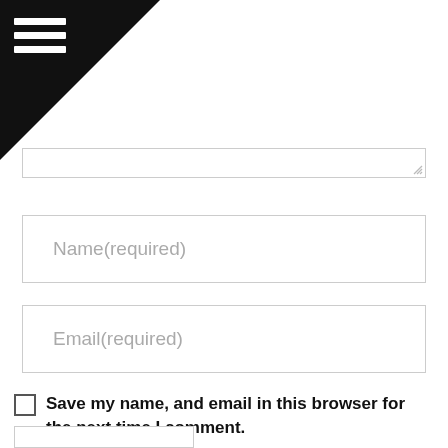[Figure (screenshot): Black triangle navigation corner with hamburger menu icon (three white horizontal lines) in top-left]
Name(required)
Email(required)
Save my name, and email in this browser for the next time I comment.